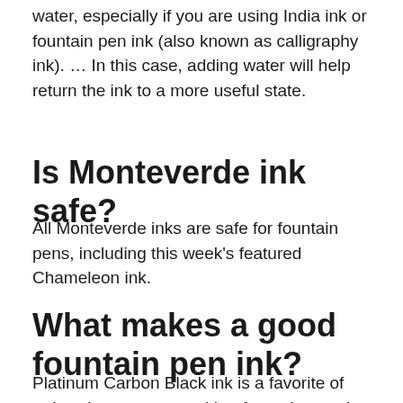water, especially if you are using India ink or fountain pen ink (also known as calligraphy ink). … In this case, adding water will help return the ink to a more useful state.
Is Monteverde ink safe?
All Monteverde inks are safe for fountain pens, including this week's featured Chameleon ink.
What makes a good fountain pen ink?
Platinum Carbon Black ink is a favorite of artists that create art with a fountain pen. It is pigment based rather then dye based